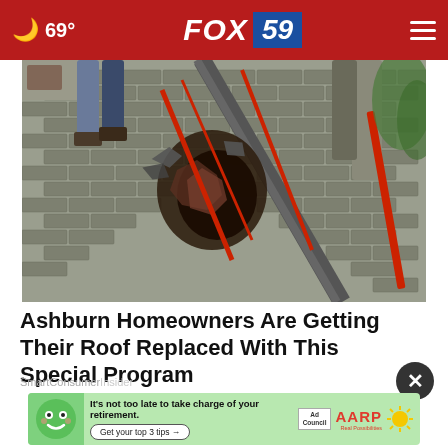69° FOX 59
[Figure (photo): Workers on a roof, removing or repairing damaged shingles. Torn and burnt roofing material visible. Workers' legs and tools visible from above.]
Ashburn Homeowners Are Getting Their Roof Replaced With This Special Program
SmartConsumerInsider
[Figure (other): AARP advertisement banner with green mascot character, text 'It's not too late to take charge of your retirement. Get your top 3 tips →', Ad Council logo, AARP logo, and sun icon.]